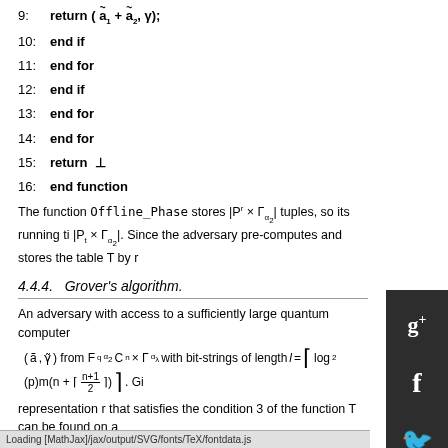9:   return (ã₁ + ã₂, γ);
10:  end if
11:  end for
12:  end if
13:  end for
14:  end for
15:  return ⊥
16: end function
The function Offline_Phase stores |Pʳ × Γ_{α₂}| tuples, so its running ti... |P_t × Γ_{α₂}|. Since the adversary pre-computes and stores the table T by r...
4.4.4.   Grover's algorithm.
An adversary with access to a sufficiently large quantum computer... (ã, γ̃) from F_q^{α₂} C_n × Γ_{α₂} with bit-strings of length l = ⌈log₂(p)m(n + ⌈(n+1)/2⌉)⌉. Gi... representation r that satisfies the condition 3 of the function T can be found on a... ...ver's algorithm. One way to avoid th...
Loading [MathJax]/jax/output/SVG/fonts/TeX/fontdata.js